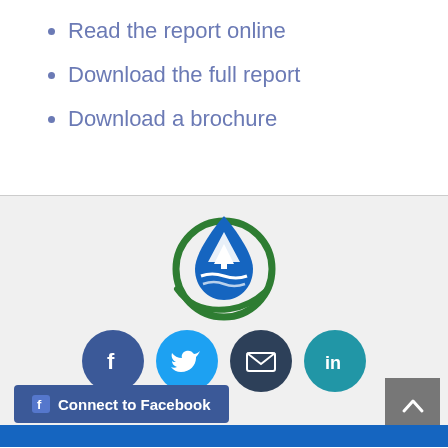Read the report online
Download the full report
Download a brochure
[Figure (logo): Circular logo with green ring and blue water drop shape containing a white pine tree and river/landscape scene]
[Figure (infographic): Row of four social media icon circles: Facebook (dark blue, F), Twitter (light blue, bird), Email (dark, envelope), LinkedIn (teal, in)]
Connect to Facebook
[Figure (other): Grey back-to-top button with upward arrow chevron]